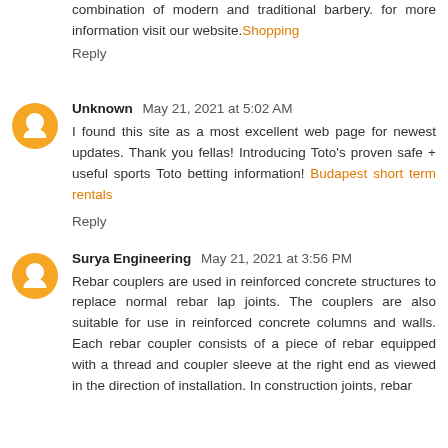combination of modern and traditional barbery. for more information visit our website.Shopping
Reply
Unknown May 21, 2021 at 5:02 AM
I found this site as a most excellent web page for newest updates. Thank you fellas! Introducing Toto's proven safe + useful sports Toto betting information! Budapest short term rentals
Reply
Surya Engineering May 21, 2021 at 3:56 PM
Rebar couplers are used in reinforced concrete structures to replace normal rebar lap joints. The couplers are also suitable for use in reinforced concrete columns and walls. Each rebar coupler consists of a piece of rebar equipped with a thread and coupler sleeve at the right end as viewed in the direction of installation. In construction joints, rebar couplers are the most popular alternative for lap splices.